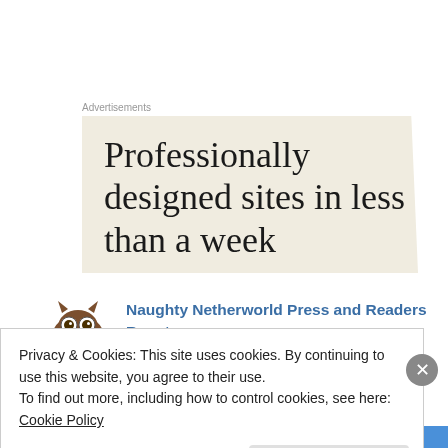Advertisements
[Figure (other): Advertisement banner with cream background and text: Professionally designed sites in less than a week]
Naughty Netherworld Press and Readers Roost (@readersroost) says:
Privacy & Cookies: This site uses cookies. By continuing to use this website, you agree to their use.
To find out more, including how to control cookies, see here: Cookie Policy